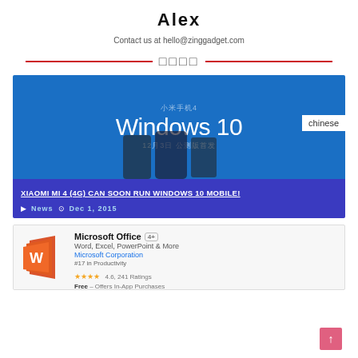Alex
Contact us at hello@zinggadget.com
□□□□
[Figure (screenshot): Blue promotional banner for Xiaomi Mi 4 Windows 10 Mobile showing Chinese text '小米手机4', 'Windows 10', '12月3日 公测版首发', with phone silhouettes and a 'chinese' label overlay. Below is a dark blue article title bar reading 'XIAOMI MI 4 (4G) CAN SOON RUN WINDOWS 10 MOBILE!' with News and Dec 1, 2015 metadata.]
[Figure (screenshot): Microsoft Office app store listing card showing the Office logo, app name 'Microsoft Office', subtitle 'Word, Excel, PowerPoint & More', publisher 'Microsoft Corporation', rank '#17 in Productivity', star rating, and 'Free – Offers In-App Purchases'.]